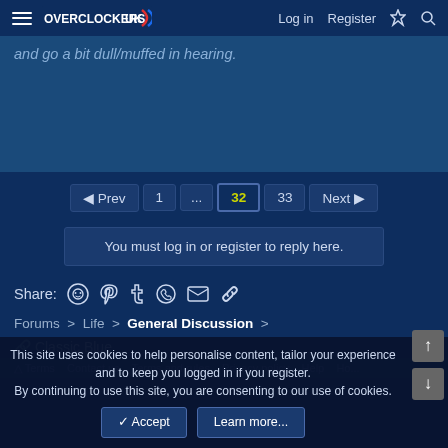Overclockers UK — Log in | Register
and go a bit dull/muffed in hearing.
Pagination: Prev | 1 | ... | 32 | 33 | Next
You must log in or register to reply here.
Share:
Forums > Life > General Discussion >
Classic Blue
This site uses cookies to help personalise content, tailor your experience and to keep you logged in if you register. By continuing to use this site, you are consenting to our use of cookies.